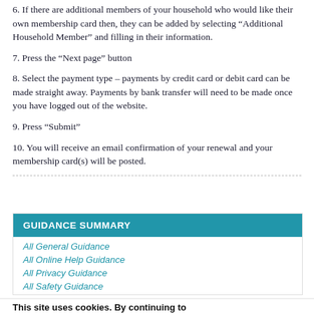6. If there are additional members of your household who would like their own membership card then, they can be added by selecting “Additional Household Member” and filling in their information.
7. Press the “Next page” button
8. Select the payment type – payments by credit card or debit card can be made straight away. Payments by bank transfer will need to be made once you have logged out of the website.
9. Press “Submit”
10. You will receive an email confirmation of your renewal and your membership card(s) will be posted.
GUIDANCE SUMMARY
All General Guidance
All Online Help Guidance
All Privacy Guidance
All Safety Guidance
This site uses cookies. By continuing to